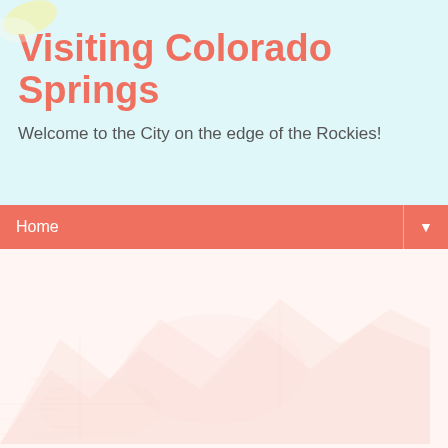Visiting Colorado Springs
Welcome to the City on the edge of the Rockies!
Home ▼
[Figure (photo): Faint watermark-style image of rocky mountain landscape or rock formation, very light salmon/peach toned, used as background in content area]